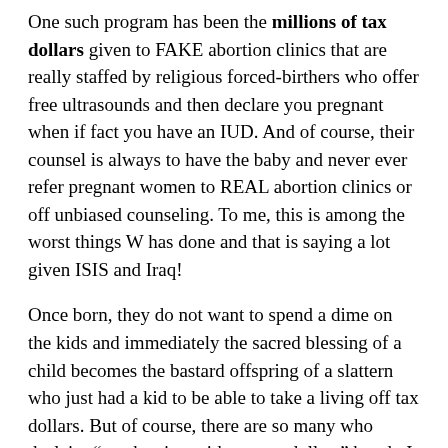One such program has been the millions of tax dollars given to FAKE abortion clinics that are really staffed by religious forced-birthers who offer free ultrasounds and then declare you pregnant when if fact you have an IUD. And of course, their counsel is always to have the baby and never ever refer pregnant women to REAL abortion clinics or off unbiased counseling. To me, this is among the worst things W has done and that is saying a lot given ISIS and Iraq!
Once born, they do not want to spend a dime on the kids and immediately the sacred blessing of a child becomes the bastard offspring of a slattern who just had a kid to be able to take a living off tax dollars. But of course, there are so many who declaim “no abortion with my tax dollars” but do I get an equal about of media coverage to say, no tax dollars for religious organizations — or even better, NO TAX